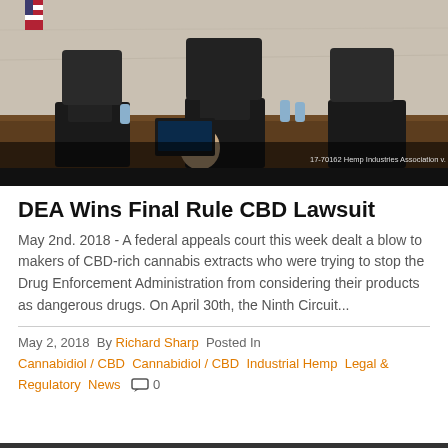[Figure (photo): Courtroom scene showing three judges in black robes seated at the bench, with a man in a suit and yellow tie visible in the foreground. A case caption overlay reads '17-70162 Hemp Industries Association v. U...']
DEA Wins Final Rule CBD Lawsuit
May 2nd. 2018 - A federal appeals court this week dealt a blow to makers of CBD-rich cannabis extracts who were trying to stop the Drug Enforcement Administration from considering their products as dangerous drugs. On April 30th, the Ninth Circuit...
May 2, 2018  By Richard Sharp  Posted In Cannabidiol / CBD  Cannabidiol / CBD  Industrial Hemp  Legal & Regulatory  News  0